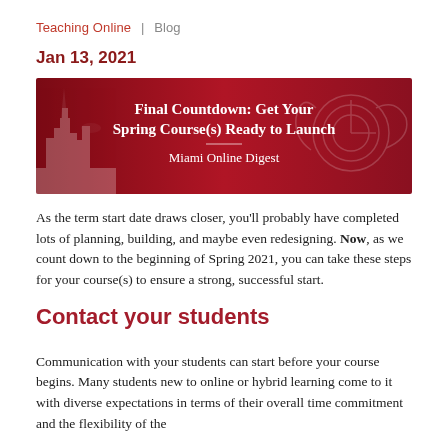Teaching Online  |  Blog
Jan 13, 2021
[Figure (illustration): Red banner image with a university building silhouette in the background. White centered text reads: 'Final Countdown: Get Your Spring Course(s) Ready to Launch — Miami Online Digest']
As the term start date draws closer, you'll probably have completed lots of planning, building, and maybe even redesigning. Now, as we count down to the beginning of Spring 2021, you can take these steps for your course(s) to ensure a strong, successful start.
Contact your students
Communication with your students can start before your course begins. Many students new to online or hybrid learning come to it with diverse expectations in terms of their overall time commitment and the flexibility of the